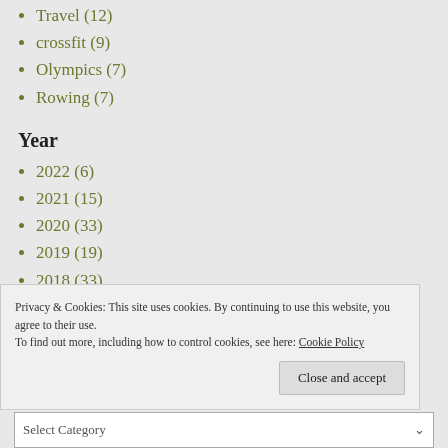Travel (12)
crossfit (9)
Olympics (7)
Rowing (7)
Year
2022 (6)
2021 (15)
2020 (33)
2019 (19)
2018 (33)
Privacy & Cookies: This site uses cookies. By continuing to use this website, you agree to their use.
To find out more, including how to control cookies, see here: Cookie Policy
Close and accept
Select Category